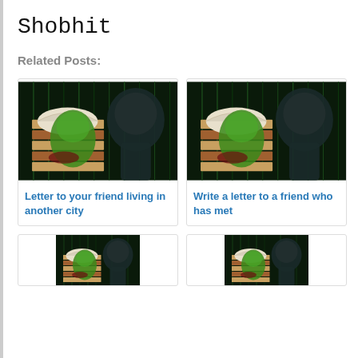Shobhit
Related Posts:
[Figure (illustration): Book with green hand and dark brain silhouette on dark matrix background]
Letter to your friend living in another city
[Figure (illustration): Book with green hand and dark brain silhouette on dark matrix background]
Write a letter to a friend who has met
[Figure (illustration): Book with green hand and dark brain silhouette on dark matrix background]
[Figure (illustration): Book with green hand and dark brain silhouette on dark matrix background]